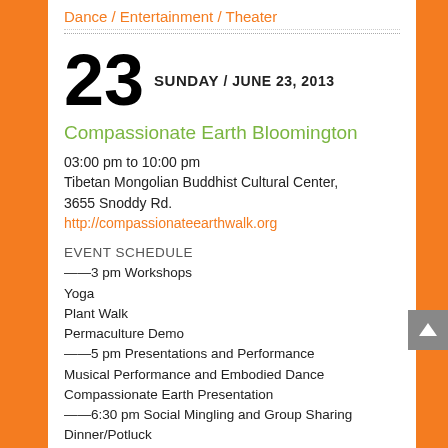Dance / Entertainment / Theater
23 SUNDAY / JUNE 23, 2013
Compassionate Earth Bloomington
03:00 pm to 10:00 pm
Tibetan Mongolian Buddhist Cultural Center, 3655 Snoddy Rd.
http://compassionateearthwalk.org
EVENT SCHEDULE
——3 pm Workshops
Yoga
Plant Walk
Permaculture Demo
——5 pm Presentations and Performance
Musical Performance and Embodied Dance
Compassionate Earth Presentation
——6:30 pm Social Mingling and Group Sharing
Dinner/Potluck